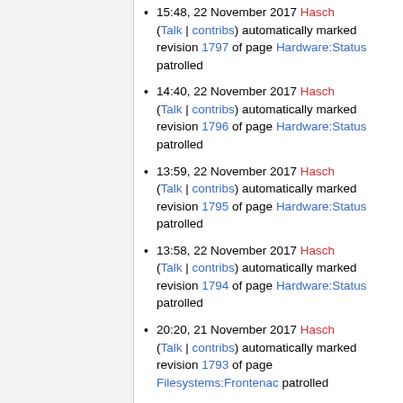15:48, 22 November 2017 Hasch (Talk | contribs) automatically marked revision 1797 of page Hardware:Status patrolled
14:40, 22 November 2017 Hasch (Talk | contribs) automatically marked revision 1796 of page Hardware:Status patrolled
13:59, 22 November 2017 Hasch (Talk | contribs) automatically marked revision 1795 of page Hardware:Status patrolled
13:58, 22 November 2017 Hasch (Talk | contribs) automatically marked revision 1794 of page Hardware:Status patrolled
20:20, 21 November 2017 Hasch (Talk | contribs) automatically marked revision 1793 of page Filesystems:Frontenac patrolled